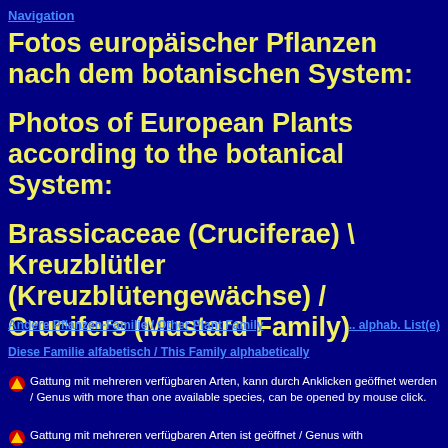Navigation
Fotos europäischer Pflanzen nach dem botanischen System:

Photos of European Plants according to the botanical System:

Brassicaceae (Cruciferae) \ Kreuzblütler (Kreuzblütengewächse) / Crucifers (Mustard Family)
Andere Pflanzen-Familie / Other Plant Family    .. alphab. List(e)
Diese Familie alfabetisch / This Family alphabetically
Gattung mit mehreren verfügbaren Arten, kann durch Anklicken geöffnet werden / Genus with more than one available species, can be opened by mouse click.
Gattung mit mehreren verfügbaren Arten ist geöffnet / Genus with